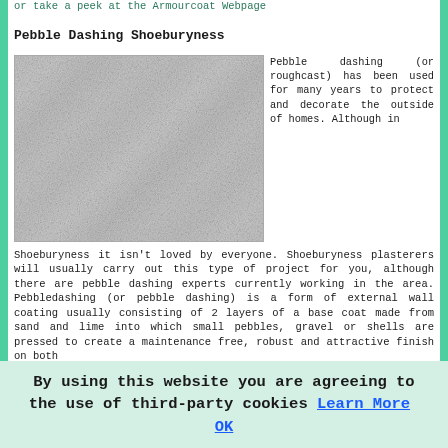or take a peek at the Armourcoat Webpage
Pebble Dashing Shoeburyness
[Figure (photo): Close-up photo of pebble dashing / roughcast exterior wall texture, showing grey rough pebbled surface]
Pebble dashing (or roughcast) has been used for many years to protect and decorate the outside of homes. Although in Shoeburyness it isn't loved by everyone. Shoeburyness plasterers will usually carry out this type of project for you, although there are pebble dashing experts currently working in the area. Pebbledashing (or pebble dashing) is a form of external wall coating usually consisting of 2 layers of a base coat made from sand and lime into which small pebbles, gravel or shells are pressed to create a maintenance free, robust and attractive finish on both
By using this website you are agreeing to the use of third-party cookies Learn More OK